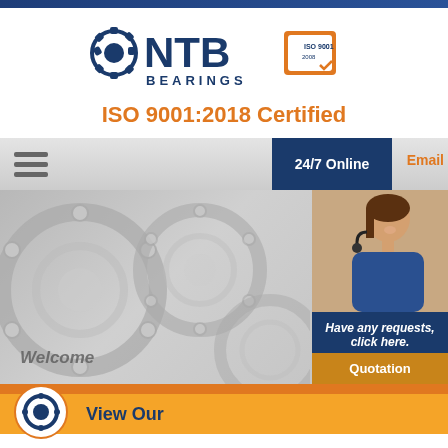[Figure (logo): NTB Bearings logo with ISO certification badge]
ISO 9001:2018 Certified
[Figure (infographic): Navigation bar with hamburger menu, 24/7 Online badge, Email label; main image area showing mechanical bearings background with 'Welcome' text overlay and side panel showing customer service agent, 'Have any requests, click here.' text, and Quotation button]
View Our